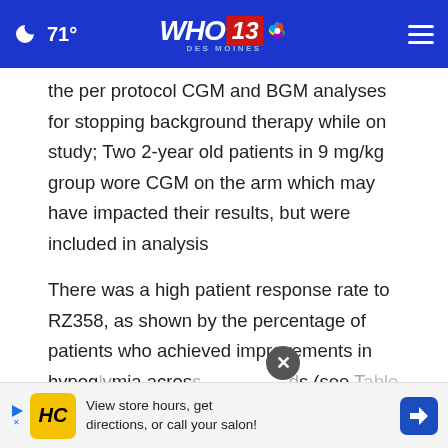71° WHO 13 DES MOINES
the per protocol CGM and BGM analyses for stopping background therapy while on study; Two 2-year old patients in 9 mg/kg group wore CGM on the arm which may have impacted their results, but were included in analysis
There was a high patient response rate to RZ358, as shown by the percentage of patients who achieved improvements in hypoglycemia across ... (see Table 7, Table 8), at the top dose, all
[Figure (screenshot): Advertisement banner: HC logo with text 'View store hours, get directions, or call your salon!' with navigation arrow icon. Close button (x) visible above the ad.]